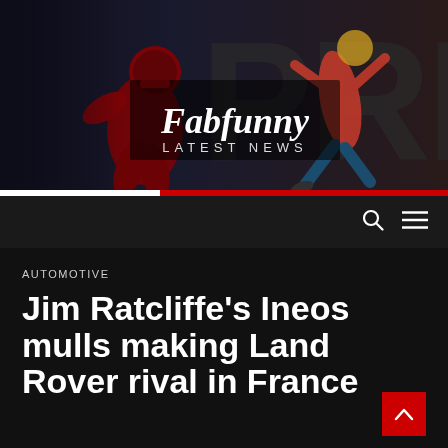[Figure (illustration): Fabfunny Latest News website header banner with sports imagery — football player in red uniform and a female sprinter athlete, with large stylized letters in background and 'Fabfunny' in serif font with 'LATEST NEWS' below in spaced caps]
Fabfunny LATEST NEWS
AUTOMOTIVE
Jim Ratcliffe's Ineos mulls making Land Rover rival in France